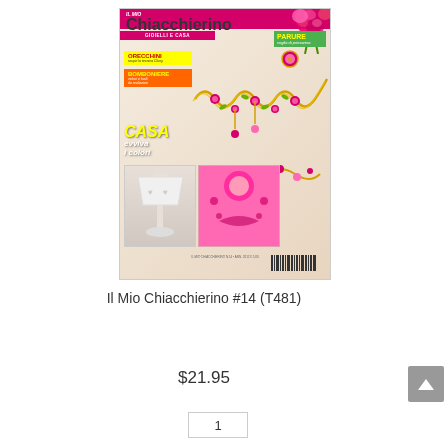[Figure (photo): Magazine cover of 'Il Mio Chiacchierino' issue #14, featuring tatted lace jewelry (necklace, earrings, bracelet) in pink and gold colors, pink roses in the background, a lamp, and a pink decorative box. Cover text includes GIOIELLI e CASA, PARURE voglia di primavera, ORECCHINI scopri la tecnica Cluny, BOMBONIERE veloci e facili da realizzare, CASA evviva i colori.]
Il Mio Chiacchierino #14 (T481)
$21.95
1